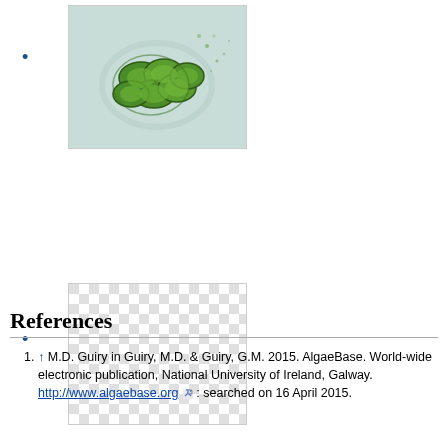[Figure (photo): Microscopy image of green algae cells on light blue/green background, showing clustered oval green cells]
[Figure (other): Checkerboard pattern placeholder image (transparency indicator)]
References
1. ↑ M.D. Guiry in Guiry, M.D. & Guiry, G.M. 2015. AlgaeBase. World-wide electronic publication, National University of Ireland, Galway. http://www.algaebase.org; searched on 16 April 2015.